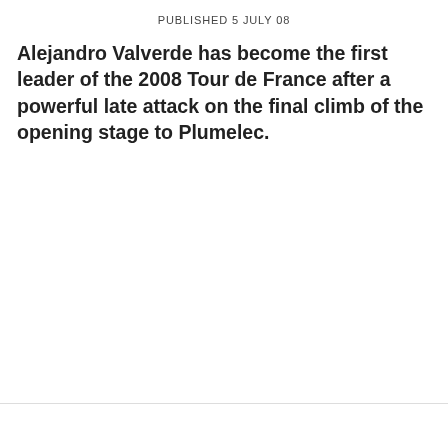PUBLISHED 5 JULY 08
Alejandro Valverde has become the first leader of the 2008 Tour de France after a powerful late attack on the final climb of the opening stage to Plumelec.